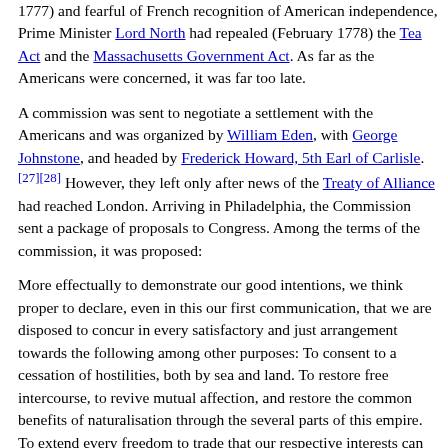1777) and fearful of French recognition of American independence, Prime Minister Lord North had repealed (February 1778) the Tea Act and the Massachusetts Government Act. As far as the Americans were concerned, it was far too late.
A commission was sent to negotiate a settlement with the Americans and was organized by William Eden, with George Johnstone, and headed by Frederick Howard, 5th Earl of Carlisle.[27][28] However, they left only after news of the Treaty of Alliance had reached London. Arriving in Philadelphia, the Commission sent a package of proposals to Congress. Among the terms of the commission, it was proposed:
More effectually to demonstrate our good intentions, we think proper to declare, even in this our first communication, that we are disposed to concur in every satisfactory and just arrangement towards the following among other purposes: To consent to a cessation of hostilities, both by sea and land. To restore free intercourse, to revive mutual affection, and restore the common benefits of naturalisation through the several parts of this empire. To extend every freedom to trade that our respective interests can require. To agree that no military force shall be kept up in the different states of North America, without the consent of the general congress, or particular